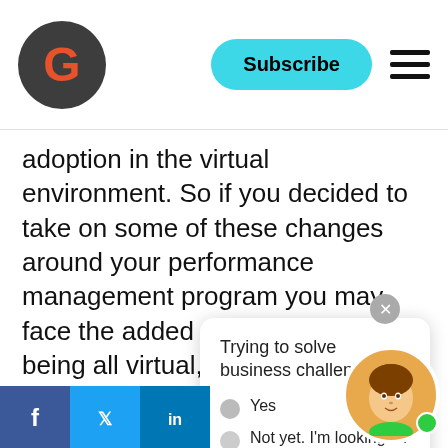G | Subscribe | ☰
adoption in the virtual environment. So if you decided to take on some of these changes around your performance management program you may face the added complexity of it being all virtual, right. We're still all ve... environment so a cou... you might need to th... adoption when taking on not only a performance management program but any really large s... change in this current... is that communicatio... tough. It's always a tough issue but it's particularly tough right now, and right now I think it's eve... easier for things to get lost in a sea of emails... think you have to really get creative about
[Figure (infographic): Popup survey with question 'Trying to solve business challenges?' and two options: 'Yes' (radio button) and 'Not yet. I'm looking for career info' (radio button). Close button (x) top right.]
[Figure (infographic): Social media icons bar at bottom left: Facebook, Twitter, LinkedIn. Avatar circle at bottom right with cartoon woman face and green online dot.]